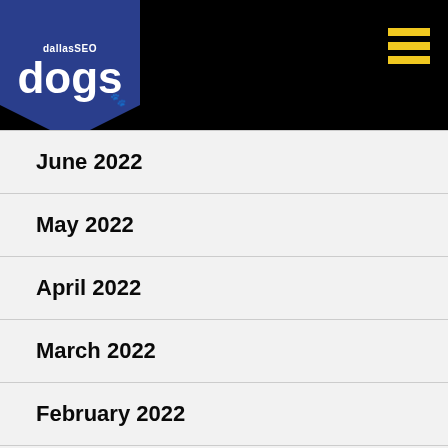dallasSEO dogs
June 2022
May 2022
April 2022
March 2022
February 2022
January 2022
December 2021